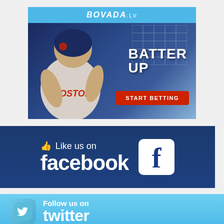[Figure (advertisement): Bovada.lv sports betting advertisement featuring a Boston Red Sox player in batting stance. Blue background with scoreboard graphic. Text reads 'BATTER UP' in bold white letters and a red button says 'START BETTING'. Bovada.lv logo in blue top bar.]
[Figure (advertisement): Facebook social media advertisement on dark navy blue background. Shows thumbs up icon, text 'Like us on facebook' in large white letters, and Facebook 'f' logo in white rounded square box.]
[Figure (advertisement): Twitter social media advertisement on light blue background. Shows Twitter bird icon in rounded square, text 'Follow us on' and partially visible 'twitter' text in white.]